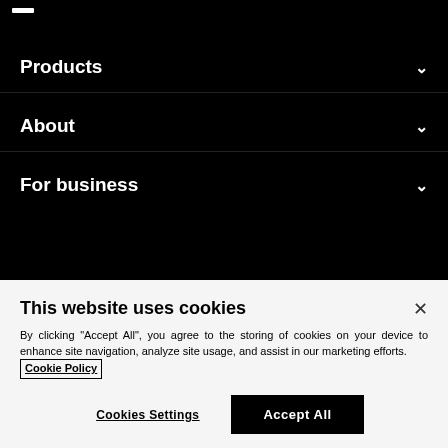Products
About
For business
This website uses cookies
By clicking "Accept All", you agree to the storing of cookies on your device to enhance site navigation, analyze site usage, and assist in our marketing efforts. Cookie Policy
Cookies Settings | Accept All